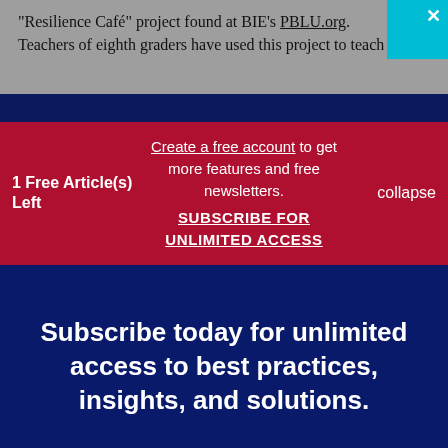“Resilience Café” project found at BIE’s PBLU.org. Teachers of eighth graders have used this project to teach
1 Free Article(s) Left
Create a free account to get more features and free newsletters.
SUBSCRIBE FOR UNLIMITED ACCESS
collapse
Subscribe today for unlimited access to best practices, insights, and solutions.
SUBSCRIBE